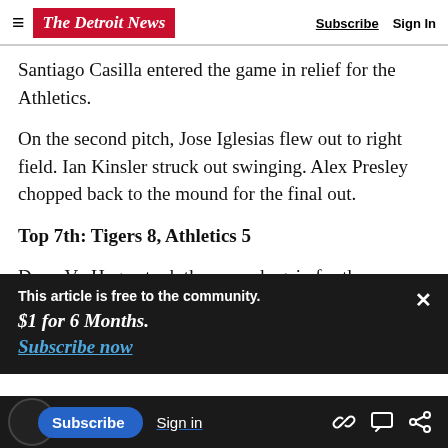The Detroit News — Subscribe | Sign In
Santiago Casilla entered the game in relief for the Athletics.
On the second pitch, Jose Iglesias flew out to right field. Ian Kinsler struck out swinging. Alex Presley chopped back to the mound for the final out.
Top 7th: Tigers 8, Athletics 5
Drew VerHagen took the mound again for the
This article is free to the community. $1 for 6 Months. Subscribe now
center field. Khris Davis then singled through the
Daniel Stumpf would replace him.